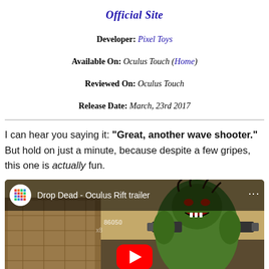Official Site
Developer: Pixel Toys
Available On: Oculus Touch (Home)
Reviewed On: Oculus Touch
Release Date: March, 23rd 2017
I can hear you saying it: "Great, another wave shooter." But hold on just a minute, because despite a few gripes, this one is actually fun.
[Figure (screenshot): YouTube video embed thumbnail for 'Drop Dead - Oculus Rift trailer' showing a zombie character with guns, with a red play button in the center]